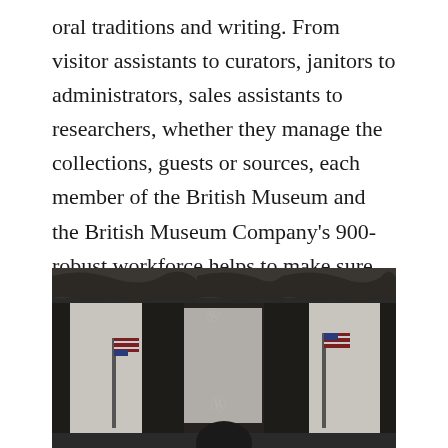oral traditions and writing. From visitor assistants to curators, janitors to administrators, sales assistants to researchers, whether they manage the collections, guests or sources, each member of the British Museum and the British Museum Company's 900-robust workforce helps to make sure that our six million annual visitors have fulfilling, satisfying and memorable visits day in, day out.
[Figure (photo): Black and white photograph of an ornate room with dark formal curtains and valances over windows, with an American flag visible. Appears to be a formal government or official setting, possibly the White House, with a figure partially visible at the bottom. The image has NYT watermarks overlaid.]